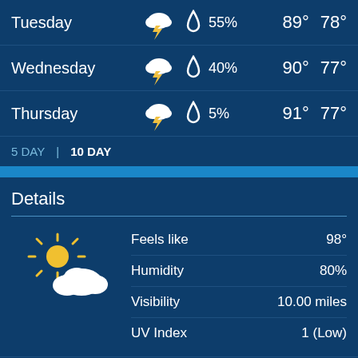| Day | Condition | Precipitation | High | Low |
| --- | --- | --- | --- | --- |
| Tuesday | Thunderstorm | 55% | 89° | 78° |
| Wednesday | Thunderstorm | 40% | 90° | 77° |
| Thursday | Thunderstorm | 5% | 91° | 77° |
5 DAY  |  10 DAY
Details
Feels like  98°
Humidity  80%
Visibility  10.00 miles
UV Index  1 (Low)
Today - Mostly sunny with a high of 94 °F (34.4 °C). Winds variable at 10 to 14 mph (16.1 to 22.5 kph).
Tonight - Partly cloudy. Winds from SE to ESE at 7 to 11 mph (11.3 to 17.7 kph). The overnight low will be 83 °F (28.3 °C).